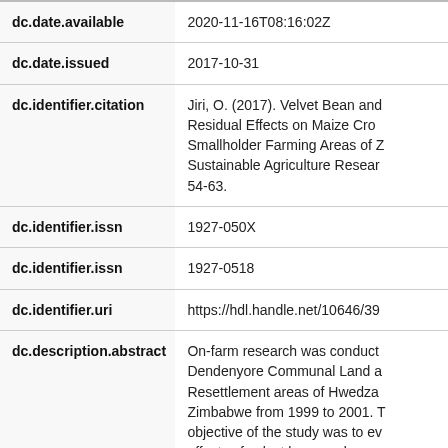| Field | Value |
| --- | --- |
| dc.date.available | 2020-11-16T08:16:02Z |
| dc.date.issued | 2017-10-31 |
| dc.identifier.citation | Jiri, O. (2017). Velvet Bean and Residual Effects on Maize Crop Smallholder Farming Areas of Zimbabwe Sustainable Agriculture Research 54-63. |
| dc.identifier.issn | 1927-050X |
| dc.identifier.issn | 1927-0518 |
| dc.identifier.uri | https://hdl.handle.net/10646/39 |
| dc.description.abstract | On-farm research was conducted Dendenyore Communal Land and Resettlement areas of Hwedza Zimbabwe from 1999 to 2001. The objective of the study was to evaluate effects of velvet bean and cow... |